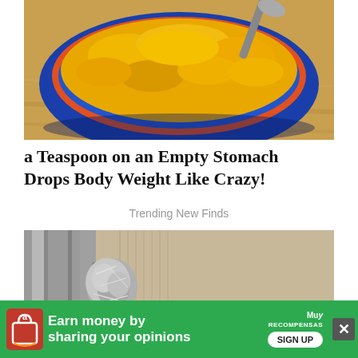[Figure (photo): A blue ceramic bowl filled with bright yellow turmeric powder, with a spoon visible at the top right, photographed on a wooden surface.]
a Teaspoon on an Empty Stomach Drops Body Weight Like Crazy!
Trending New Finds
[Figure (photo): A door knob wrapped in aluminum foil, photographed against a light tan/beige door and a metallic door frame.]
[Figure (other): Green advertisement banner: 'Earn money by sharing your opinions' with a sign up button and MuyRecompensas logo, with an Amazon shopping icon on the left.]